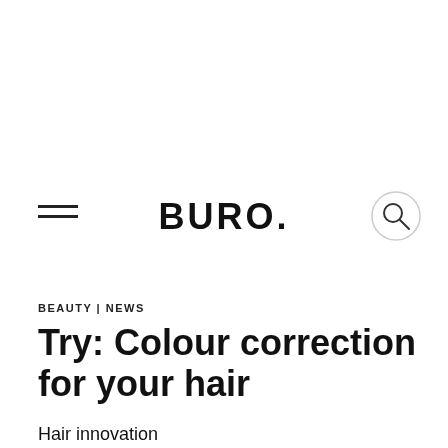BURO.
BEAUTY | NEWS
Try: Colour correction for your hair
Hair innovation